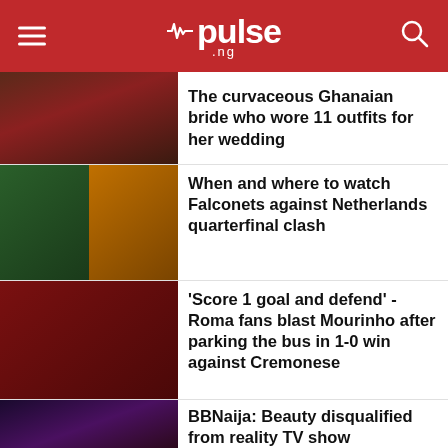pulse .ng
The curvaceous Ghanaian bride who wore 11 outfits for her wedding
When and where to watch Falconets against Netherlands quarterfinal clash
'Score 1 goal and defend' - Roma fans blast Mourinho after parking the bus in 1-0 win against Cremonese
BBNaija: Beauty disqualified from reality TV show